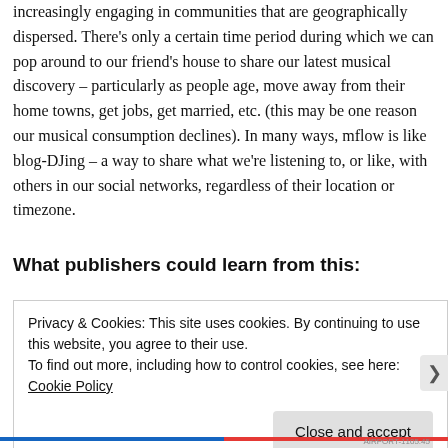increasingly engaging in communities that are geographically dispersed. There's only a certain time period during which we can pop around to our friend's house to share our latest musical discovery – particularly as people age, move away from their home towns, get jobs, get married, etc. (this may be one reason our musical consumption declines). In many ways, mflow is like blog-DJing – a way to share what we're listening to, or like, with others in our social networks, regardless of their location or timezone.
What publishers could learn from this:
Privacy & Cookies: This site uses cookies. By continuing to use this website, you agree to their use.
To find out more, including how to control cookies, see here: Cookie Policy